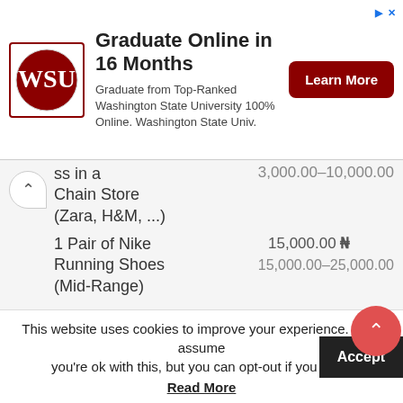[Figure (other): Washington State University advertisement banner with logo, text 'Graduate Online in 16 Months', and a Learn More button]
| Item | Price | Range |
| --- | --- | --- |
| ss in a Chain Store (Zara, H&M, ...) |  | 3,000.00–10,000.00 |
| 1 Pair of Nike Running Shoes (Mid-Range) | 15,000.00 ₦ | 15,000.00–25,000.00 |
| 1 Pair of Men Leather Business Shoes | 17,500.00 ₦ | 10,000.00–40,000.00 |
This website uses cookies to improve your experience. We'll assume you're ok with this, but you can opt-out if you wish.
Read More